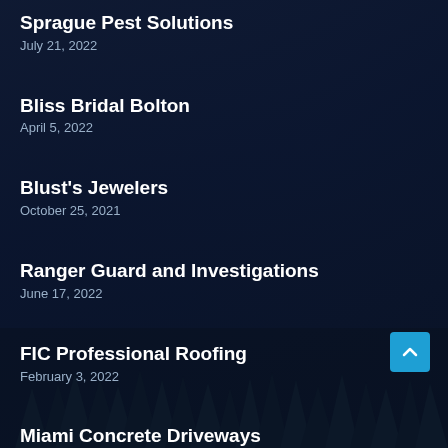Sprague Pest Solutions
July 21, 2022
Bliss Bridal Bolton
April 5, 2022
Blust's Jewelers
October 25, 2021
Ranger Guard and Investigations
June 17, 2022
FIC Professional Roofing
February 3, 2022
Miami Concrete Driveways
November 27, 2021